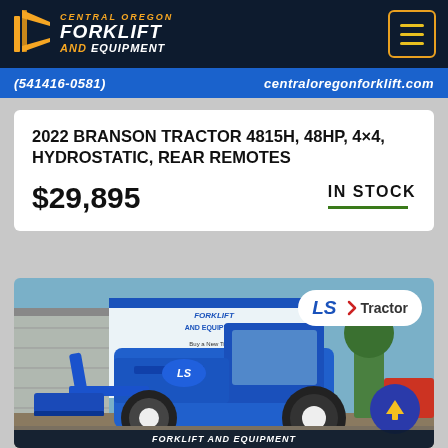Central Oregon Forklift and Equipment
(541416-0581)   centraloregonforklift.com
2022 BRANSON TRACTOR 4815H, 48HP, 4×4, HYDROSTATIC, REAR REMOTES
$29,895   IN STOCK
[Figure (photo): Blue LS Tractor 4815H with front loader bucket, parked in front of a building with forklift and equipment signage. LS Tractor logo badge visible in top right corner of the photo. A blue circle with up arrow in bottom right.]